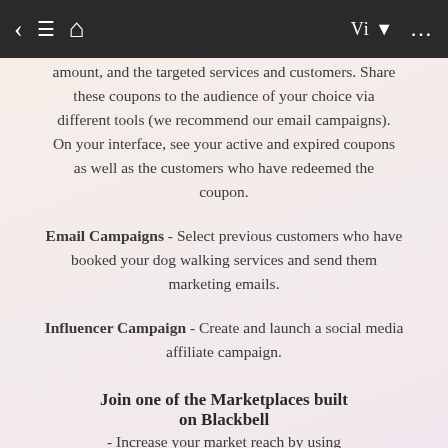Navigation bar with back, menu, home, Vi dropdown, and more options
amount, and the targeted services and customers. Share these coupons to the audience of your choice via different tools (we recommend our email campaigns). On your interface, see your active and expired coupons as well as the customers who have redeemed the coupon.
Email Campaigns - Select previous customers who have booked your dog walking services and send them marketing emails.
Influencer Campaign - Create and launch a social media affiliate campaign.
Join one of the Marketplaces built on Blackbell
- Increase your market reach by using nearby Blackbell Marketplaces to sell your dog walking services in Victorville. Select the page you would like to submit to that marketplace, and once your application is validated, you will start receiving bookings through that